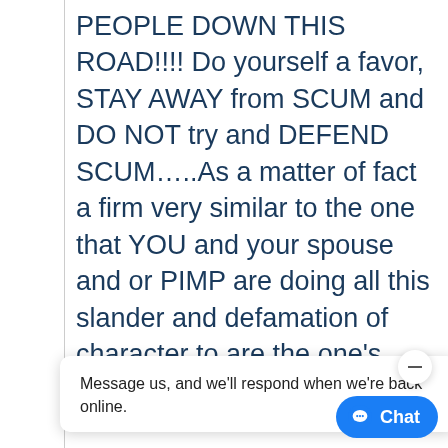PEOPLE DOWN THIS ROAD!!!! Do yourself a favor, STAY AWAY from SCUM and DO NOT try and DEFEND SCUM…..As a matter of fact a firm very similar to the one that YOU and your spouse and or PIMP are doing all this slander and defamation of character to are the one's
[Figure (screenshot): Messenger popup widget showing text 'Message us, and we'll respond when we're back online.' with a minimize button and a blue Chat button in bottom right corner.]
they back created out of of a much smaller mess….. DO YOURSELF A FAVOR,